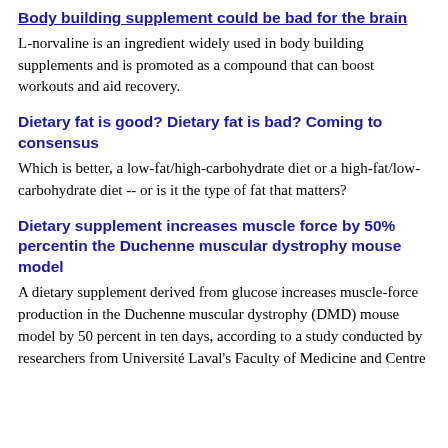Body building supplement could be bad for the brain
L-norvaline is an ingredient widely used in body building supplements and is promoted as a compound that can boost workouts and aid recovery.
Dietary fat is good? Dietary fat is bad? Coming to consensus
Which is better, a low-fat/high-carbohydrate diet or a high-fat/low-carbohydrate diet -- or is it the type of fat that matters?
Dietary supplement increases muscle force by 50% percentin the Duchenne muscular dystrophy mouse model
A dietary supplement derived from glucose increases muscle-force production in the Duchenne muscular dystrophy (DMD) mouse model by 50 percent in ten days, according to a study conducted by researchers from Université Laval's Faculty of Medicine and Centre